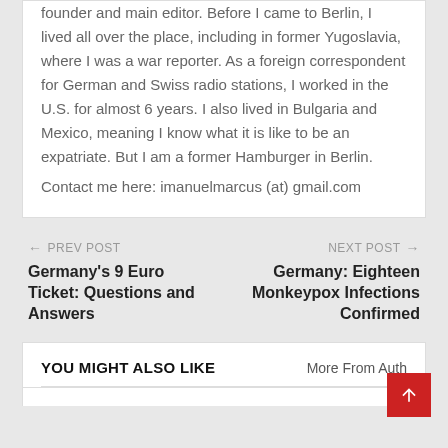founder and main editor. Before I came to Berlin, I lived all over the place, including in former Yugoslavia, where I was a war reporter. As a foreign correspondent for German and Swiss radio stations, I worked in the U.S. for almost 6 years. I also lived in Bulgaria and Mexico, meaning I know what it is like to be an expatriate. But I am a former Hamburger in Berlin.
Contact me here: imanuelmarcus (at) gmail.com
← PREV POST
Germany's 9 Euro Ticket: Questions and Answers
NEXT POST →
Germany: Eighteen Monkeypox Infections Confirmed
YOU MIGHT ALSO LIKE
More From Auth